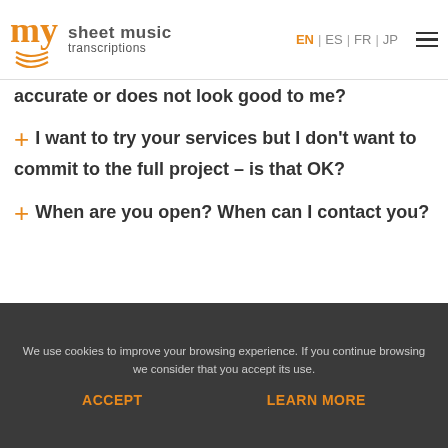my sheet music transcriptions — EN | ES | FR | JP
accurate or does not look good to me?
+ I want to try your services but I don't want to commit to the full project – is that OK?
+ When are you open? When can I contact you?
We use cookies to improve your browsing experience. If you continue browsing we consider that you accept its use. ACCEPT   LEARN MORE